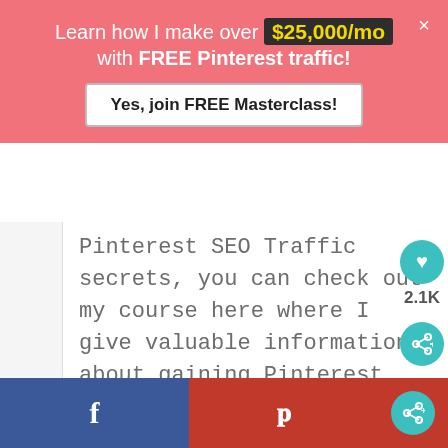[Figure (screenshot): Pink promotional banner overlay with text 'Learn how I make over $25,000/mo with FREE Pinterest traffic!' and a button 'Yes, join FREE Masterclass!' with a close X button]
Pinterest SEO Traffic secrets, you can check out my course here where I give valuable information about gaining Pinterest traffic: https://courses.anastasiablogger.co seo-traffic-secrets
Reply ←
[Figure (screenshot): Bottom social share bar with Facebook (blue) and Pinterest (red) buttons, and a teal share icon circle]